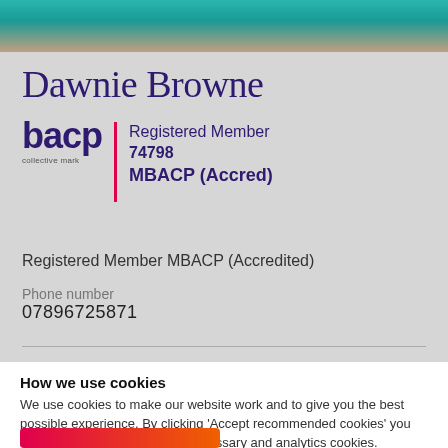[Figure (photo): Partial view of a person wearing teal/turquoise clothing and a necklace, cropped at top of page]
Dawnie Browne
[Figure (logo): BACP collective mark logo with red vertical divider and text: Registered Member 74798 MBACP (Accred)]
Registered Member MBACP (Accredited)
Phone number
07896725871
How we use cookies
We use cookies to make our website work and to give you the best possible experience. By clicking 'Accept recommended cookies' you are agreeing that we can set necessary and analytics cookies.